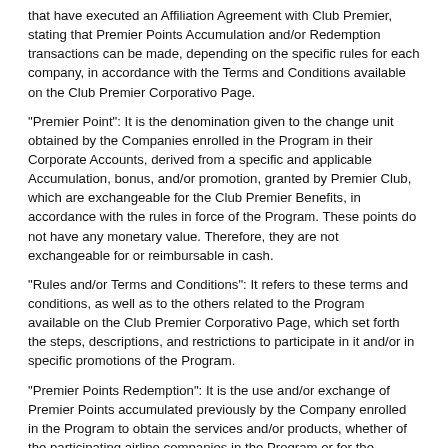that have executed an Affiliation Agreement with Club Premier, stating that Premier Points Accumulation and/or Redemption transactions can be made, depending on the specific rules for each company, in accordance with the Terms and Conditions available on the Club Premier Corporativo Page.
"Premier Point": It is the denomination given to the change unit obtained by the Companies enrolled in the Program in their Corporate Accounts, derived from a specific and applicable Accumulation, bonus, and/or promotion, granted by Premier Club, which are exchangeable for the Club Premier Benefits, in accordance with the rules in force of the Program. These points do not have any monetary value. Therefore, they are not exchangeable for or reimbursable in cash.
"Rules and/or Terms and Conditions": It refers to these terms and conditions, as well as to the others related to the Program available on the Club Premier Corporativo Page, which set forth the steps, descriptions, and restrictions to participate in it and/or in specific promotions of the Program.
"Premier Points Redemption": It is the use and/or exchange of Premier Points accumulated previously by the Company enrolled in the Program to obtain the services and/or products, whether of the participating airline companies in the Program or for the acquisition and/or use of the goods and/or services of Affiliated Partners to the Program, in accordance with the rules in force for the Program Redemption, available on the Club Premier Corporativo Page.